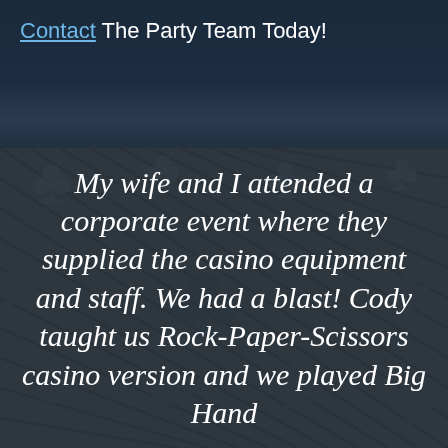Contact The Party Team Today!
My wife and I attended a corporate event where they supplied the casino equipment and staff. We had a blast! Cody taught us Rock-Paper-Scissors casino version and we played Big Hand...